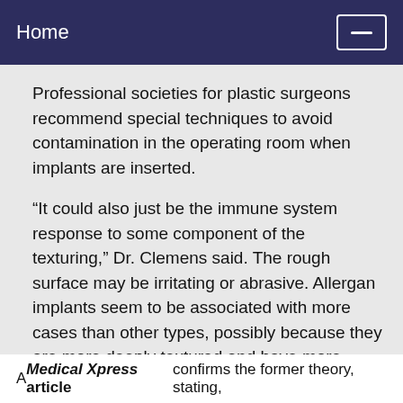Home
Professional societies for plastic surgeons recommend special techniques to avoid contamination in the operating room when implants are inserted.
“It could also just be the immune system response to some component of the texturing,” Dr. Clemens said. The rough surface may be irritating or abrasive. Allergan implants seem to be associated with more cases than other types, possibly because they are more deeply textured and have more surface area for bacteria to stick to, he said.
A Medical Xpress article confirms the former theory, stating,